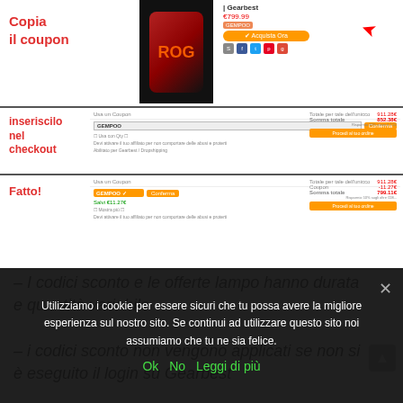[Figure (screenshot): Screenshot of Gearbest product page showing ASUS ROG phone with coupon code GEMPOO entry area and buy button. Red arrow pointing to coupon input. Price shown as €799.99 reduced to 852.38€.]
Copia il coupon
inseriscilo nel checkout
Fatto!
– I codici sconto e le offerte lampo hanno durata e quantità variabile
– i codici sconto non vengono applicati se non si è eseguito il login su Gearbest
Utilizziamo i cookie per essere sicuri che tu possa avere la migliore esperienza sul nostro sito. Se continui ad utilizzare questo sito noi assumiamo che tu ne sia felice.
Ok  No  Leggi di più